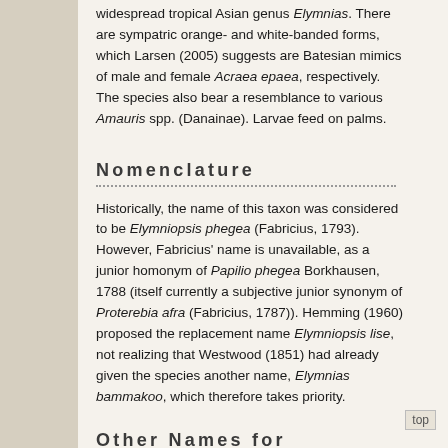widespread tropical Asian genus Elymnias. There are sympatric orange- and white-banded forms, which Larsen (2005) suggests are Batesian mimics of male and female Acraea epaea, respectively. The species also bear a resemblance to various Amauris spp. (Danainae). Larvae feed on palms.
Nomenclature
Historically, the name of this taxon was considered to be Elymniopsis phegea (Fabricius, 1793). However, Fabricius' name is unavailable, as a junior homonym of Papilio phegea Borkhausen, 1788 (itself currently a subjective junior synonym of Proterebia afra (Fabricius, 1787)). Hemming (1960) proposed the replacement name Elymniopsis lise, not realizing that Westwood (1851) had already given the species another name, Elymnias bammakoo, which therefore takes priority.
Other Names for Elymniopsis